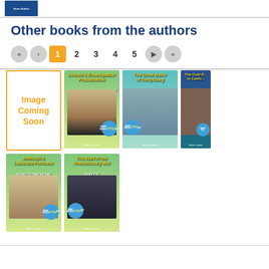[Figure (illustration): Blue book thumbnail at top left]
Other books from the authors
Pagination: 1 (active), 2, 3, 4, 5 with navigation arrows
[Figure (photo): Image Coming Soon placeholder]
[Figure (illustration): Lincoln's Emancipation Proclamation book cover]
[Figure (illustration): The Great Battle of Gettysburg book cover]
[Figure (illustration): The Gold Rush in California book cover (partially visible)]
[Figure (illustration): Jefferson's Louisiana Purchase book cover]
[Figure (illustration): The Start of the Revolutionary War book cover]